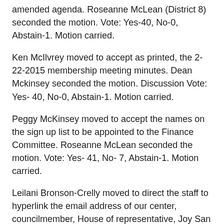amended agenda. Roseanne McLean (District 8) seconded the motion. Vote: Yes-40, No-0, Abstain-1. Motion carried.
Ken McIlvrey moved to accept as printed, the 2-22-2015 membership meeting minutes. Dean Mckinsey seconded the motion. Discussion Vote: Yes- 40, No-0, Abstain-1. Motion carried.
Peggy McKinsey moved to accept the names on the sign up list to be appointed to the Finance Committee. Roseanne McLean seconded the motion. Vote: Yes- 41, No- 7, Abstain-1. Motion carried.
Leilani Bronson-Crelly moved to direct the staff to hyperlink the email address of our center, councilmember, House of representative, Joy San Buenaventura, and Senator Ruderman, on to our HPPOA website. Dr. Jo Maynard (District 4) seconded the motion. Vote: Yes-27, No-1, Abstain-8. Motion carried.